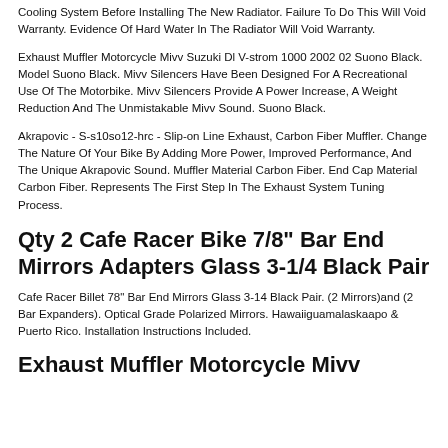Cooling System Before Installing The New Radiator. Failure To Do This Will Void Warranty. Evidence Of Hard Water In The Radiator Will Void Warranty.
Exhaust Muffler Motorcycle Mivv Suzuki Dl V-strom 1000 2002 02 Suono Black. Model Suono Black. Mivv Silencers Have Been Designed For A Recreational Use Of The Motorbike. Mivv Silencers Provide A Power Increase, A Weight Reduction And The Unmistakable Mivv Sound. Suono Black.
Akrapovic - S-s10so12-hrc - Slip-on Line Exhaust, Carbon Fiber Muffler. Change The Nature Of Your Bike By Adding More Power, Improved Performance, And The Unique Akrapovic Sound. Muffler Material Carbon Fiber. End Cap Material Carbon Fiber. Represents The First Step In The Exhaust System Tuning Process.
Qty 2 Cafe Racer Bike 7/8" Bar End Mirrors Adapters Glass 3-1/4 Black Pair
Cafe Racer Billet 78" Bar End Mirrors Glass 3-14 Black Pair. (2 Mirrors)and (2 Bar Expanders). Optical Grade Polarized Mirrors. Hawaiiguamalaskaapo & Puerto Rico. Installation Instructions Included.
Exhaust Muffler Motorcycle Mivv